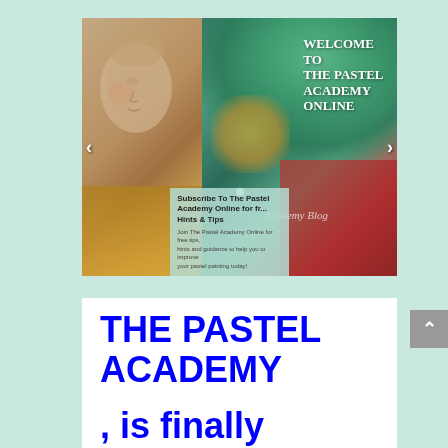[Figure (screenshot): Website screenshot showing a slideshow banner for 'The Pastel Academy Online' with colorful pastel powder image on right side and classical baby face drawing on left side. Text reads 'WELCOME TO THE PASTEL ACADEMY ONLINE' in white serif font. Navigation arrows on left and right. A subscribe overlay box reads 'Subscribe To The Pastel Academy Online for fr... Hints & Tips'. Below the slideshow is a white content area.]
THE PASTEL ACADEMY
, is finally